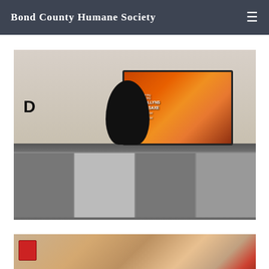Bond County Humane Society
[Figure (photo): Partial view of a photo at the top of the page, cropped, showing blurred background scene]
[Figure (photo): A black cat sitting on a desk/shelf in front of a TV monitor displaying movie credits including 'EDDY COLLYNS', 'ANDREW SAXE', and 'associate producer'. A large letter D decoration is visible on the left. Below is a shelving unit with compartments.]
[Figure (photo): Partial view of a third photo at the bottom, showing a close-up of what appears to be a dog or cat with reddish-tan fur, partially cropped]